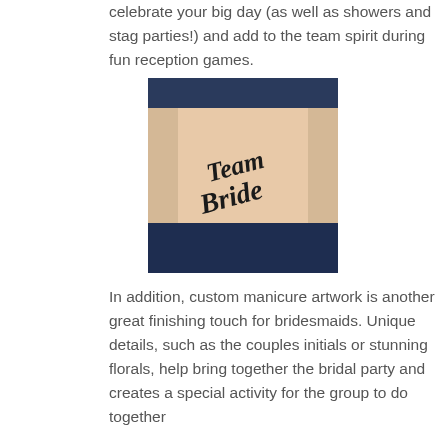celebrate your big day (as well as showers and stag parties!) and add to the team spirit during fun reception games.
[Figure (photo): A person's arm with a tattoo reading 'Team Bride' in decorative script lettering. The arm is set against a dark blue background.]
In addition, custom manicure artwork is another great finishing touch for bridesmaids. Unique details, such as the couples initials or stunning florals, help bring together the bridal party and creates a special activity for the group to do together